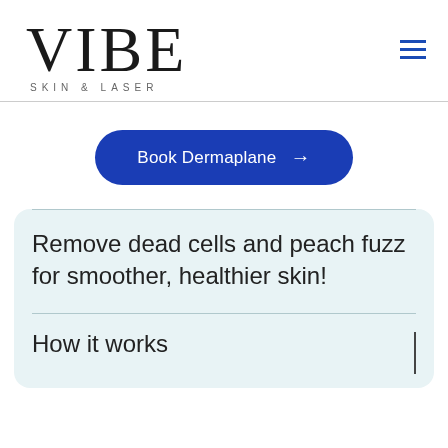VIBE SKIN & LASER
[Figure (logo): VIBE Skin & Laser logo with large serif VIBE text and spaced subtitle]
Book Dermaplane →
Remove dead cells and peach fuzz for smoother, healthier skin!
How it works